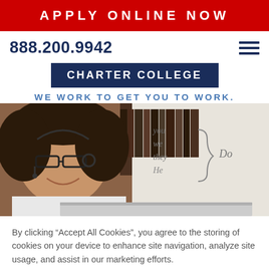APPLY ONLINE NOW
888.200.9942
[Figure (logo): Charter College logo — white text on navy blue background with border]
WE WORK TO GET YOU TO WORK.
[Figure (photo): Smiling woman with headset and glasses in front of a whiteboard with cursive text 'you, we, they, he' and a bookshelf background]
By clicking “Accept All Cookies”, you agree to the storing of cookies on your device to enhance site navigation, analyze site usage, and assist in our marketing efforts.